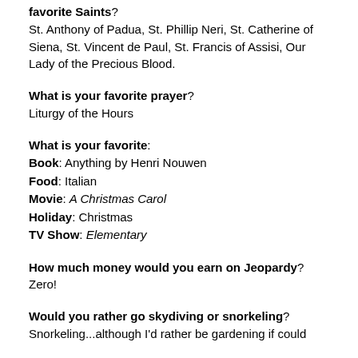favorite Saints? St. Anthony of Padua, St. Phillip Neri, St. Catherine of Siena, St. Vincent de Paul, St. Francis of Assisi, Our Lady of the Precious Blood.
What is your favorite prayer? Liturgy of the Hours
What is your favorite: Book: Anything by Henri Nouwen Food: Italian Movie: A Christmas Carol Holiday: Christmas TV Show: Elementary
How much money would you earn on Jeopardy? Zero!
Would you rather go skydiving or snorkeling? Snorkeling...although I'd rather be gardening if could